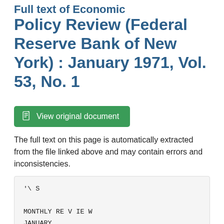Full text of Economic Policy Review (Federal Reserve Bank of New York) : January 1971, Vol. 53, No. 1
[Figure (other): Green button labeled 'View original document' with a document icon]
The full text on this page is automatically extracted from the file linked above and may contain errors and inconsistencies.
'\  S

MONTHLY RE V IE W
JANUARY

1971